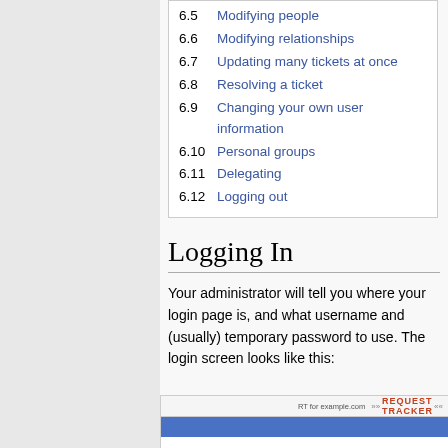6.5  Modifying people
6.6  Modifying relationships
6.7  Updating many tickets at once
6.8  Resolving a ticket
6.9  Changing your own user information
6.10  Personal groups
6.11  Delegating
6.12  Logging out
Logging In
Your administrator will tell you where your login page is, and what username and (usually) temporary password to use. The login screen looks like this:
[Figure (screenshot): Request Tracker login screen screenshot showing header bar and blue navigation bar]